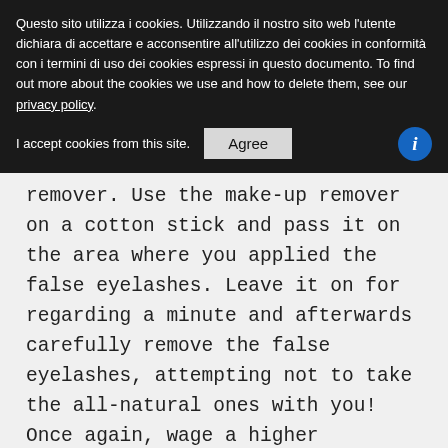Questo sito utilizza i cookies. Utilizzando il nostro sito web l'utente dichiara di accettare e acconsentire all'utilizzo dei cookies in conformità con i termini di uso dei cookies espressi in questo documento. To find out more about the cookies we use and how to delete them, see our privacy policy.
I accept cookies from this site. [Agree button] [i info icon]
remover. Use the make-up remover on a cotton stick and pass it on the area where you applied the false eyelashes. Leave it on for regarding a minute and afterwards carefully remove the false eyelashes, attempting not to take the all-natural ones with you! Once again, wage a higher activity. Ended up! Prior to ending our guide, however, allow me provide you some other beneficial advice: